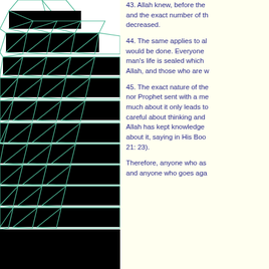[Figure (illustration): A geometric tiling pattern made of pentagons and rectangles forming a repeating mosaic, drawn with thin teal/green lines on a white background.]
43. Allah knew, before the and the exact number of th decreased.
44. The same applies to al would be done. Everyone man's life is sealed which Allah, and those who are w
45. The exact nature of the nor Prophet sent with a me much about it only leads to careful about thinking and Allah has kept knowledge about it, saying in His Boo 21: 23).
Therefore, anyone who as and anyone who goes aga